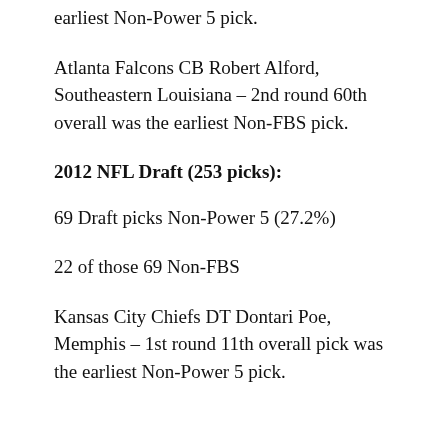earliest Non-Power 5 pick.
Atlanta Falcons CB Robert Alford, Southeastern Louisiana – 2nd round 60th overall was the earliest Non-FBS pick.
2012 NFL Draft (253 picks):
69 Draft picks Non-Power 5 (27.2%)
22 of those 69 Non-FBS
Kansas City Chiefs DT Dontari Poe, Memphis – 1st round 11th overall pick was the earliest Non-Power 5 pick.